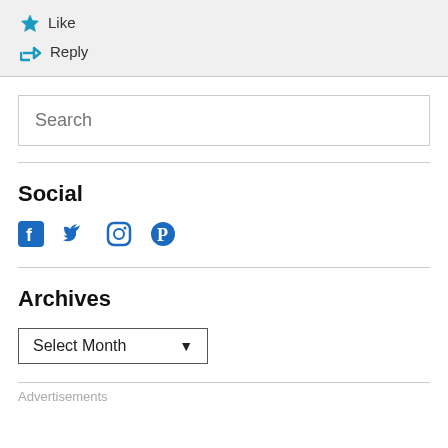[Figure (screenshot): Comment action bar with Like (star icon) and Reply (arrow icon) buttons on a light gray background]
Search
Social
[Figure (infographic): Social media icons: Facebook, Twitter, Instagram, Pinterest in blue]
Archives
Select Month
Advertisements